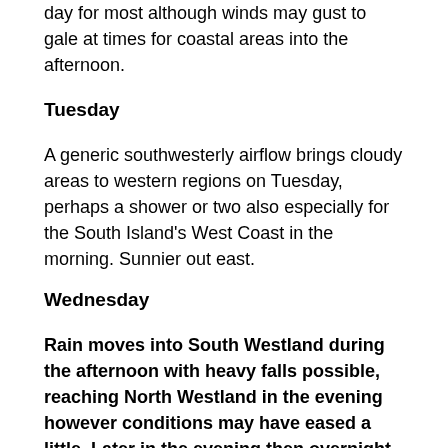day for most although winds may gust to gale at times for coastal areas into the afternoon.
Tuesday
A generic southwesterly airflow brings cloudy areas to western regions on Tuesday, perhaps a shower or two also especially for the South Island's West Coast in the morning. Sunnier out east.
Wednesday
Rain moves into South Westland during the afternoon with heavy falls possible, reaching North Westland in the evening however conditions may have eased a little. Later in the evening then overnight a strong southwest change pushes northwards along the South Island's East Coast.